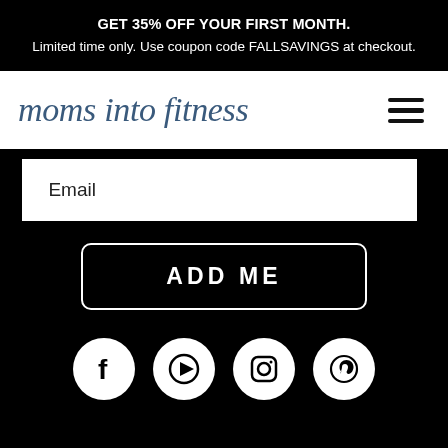GET 35% OFF YOUR FIRST MONTH. Limited time only. Use coupon code FALLSAVINGS at checkout.
moms into fitness
[Figure (other): Hamburger menu icon with three horizontal lines]
Email
ADD ME
[Figure (other): Social media icons: Facebook, YouTube, Instagram, Pinterest]